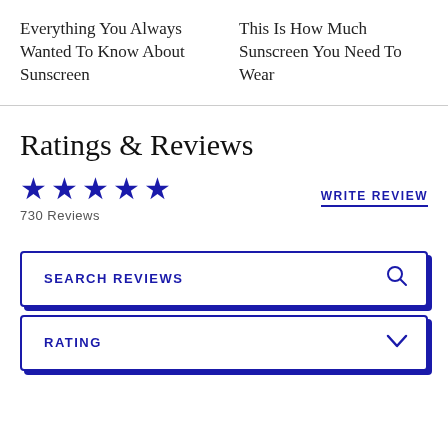Everything You Always Wanted To Know About Sunscreen
This Is How Much Sunscreen You Need To Wear
Ratings & Reviews
★★★★★  730 Reviews
WRITE REVIEW
SEARCH REVIEWS
RATING